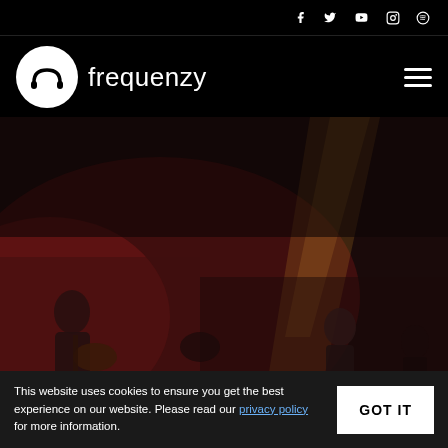Social icons: Facebook, Twitter, YouTube, Instagram, Spotify
[Figure (logo): Frequenzy logo with white circle containing stylized waveform and text 'frequenzy']
[Figure (photo): Live concert photo showing a band performing on a dimly lit stage with red and amber stage lighting. Multiple musicians visible including a guitarist on the left and other band members playing instruments.]
This website uses cookies to ensure you get the best experience on our website. Please read our privacy policy for more information.